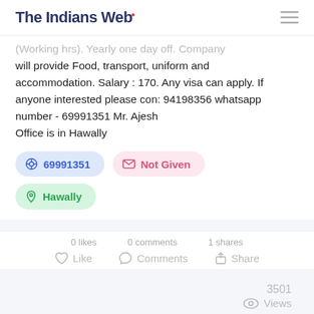The Indians Web
(Working hrs). Yearly one day off. Company will provide Food, transport, uniform and accommodation. Salary : 170. Any visa can apply. If anyone interested please con: 94198356 whatsapp number - 69991351 Mr. Ajesh
Office is in Hawally
69991351 | Not Given | Hawally
0 likes   0 comments   1 shares
Like   Comments   Share
3501
Views